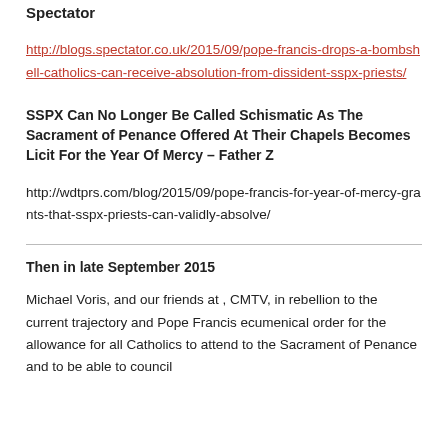Spectator
http://blogs.spectator.co.uk/2015/09/pope-francis-drops-a-bombshell-catholics-can-receive-absolution-from-dissident-sspx-priests/
SSPX Can No Longer Be Called Schismatic As The Sacrament of Penance Offered At Their Chapels Becomes Licit For the Year Of Mercy – Father Z
http://wdtprs.com/blog/2015/09/pope-francis-for-year-of-mercy-grants-that-sspx-priests-can-validly-absolve/
Then in late September 2015
Michael Voris, and our friends at , CMTV, in rebellion to the current trajectory and Pope Francis ecumenical order for the allowance for all Catholics to attend to the Sacrament of Penance and to be able to council